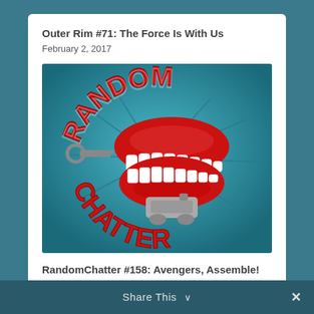Outer Rim #71: The Force Is With Us
February 2, 2017
[Figure (logo): Random Chatter podcast logo featuring animated chattering teeth toy with wind-up key on a teal background, with 'RANDOM' text arched above and 'CHATTER' text below in red 3D lettering]
RandomChatter #158: Avengers, Assemble!
December 4, 2017
Share This ∨